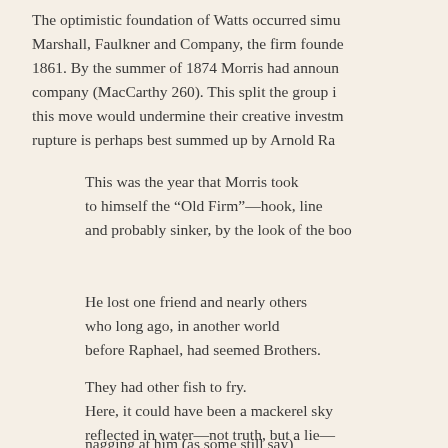The optimistic foundation of Watts occurred simu Marshall, Faulkner and Company, the firm founde 1861. By the summer of 1874 Morris had announ company (MacCarthy 260). This split the group i this move would undermine their creative investm rupture is perhaps best summed up by Arnold Ra
This was the year that Morris took
to himself the “Old Firm”—hook, line
and probably sinker, by the look of the boo
He lost one friend and nearly others
who long ago, in another world
before Raphael, had seemed Brothers.
They had other fish to fry.
Here, it could have been a mackerel sky
reflected in water—not truth, but a lie—
nagging at him (as some still say)
that his would be the dream that got away